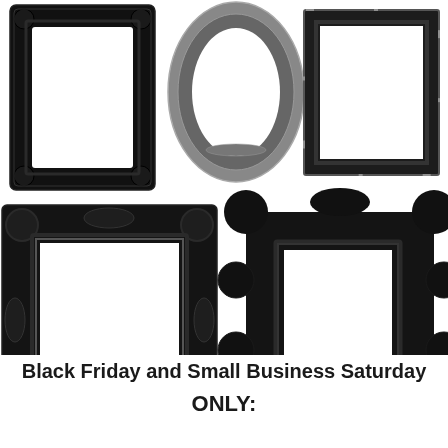[Figure (illustration): Five ornate picture frames arranged in two rows against a white background. Top row: a large black ornate rectangular frame on the left, a silver oval frame in the center, and a distressed black rectangular frame on the right. Bottom row: a large black baroque rectangular frame on the left, and a black heavily carved ornamental square frame on the right.]
Black Friday and Small Business Saturday ONLY: